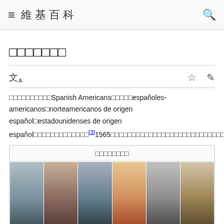≡ 維基百科  🔍
□□□□□□□
□□□□□□□□□□Spanish Americans□□□□□españoles-americanos□norteamericanos de origen español□estadounidenses de origen español□□□□□□□□□□□□□[3]1565□□□□□□□□□□□□□□□□□□□□□□□□[4]□□5000□□□□□□□□□□□□□□□□□□□□□□□□□□□□□□□□□□□□□□□□
| □□□□□□□□ |